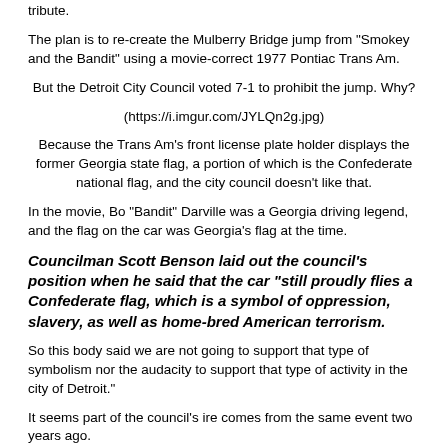tribute.
The plan is to re-create the Mulberry Bridge jump from "Smokey and the Bandit" using a movie-correct 1977 Pontiac Trans Am.
But the Detroit City Council voted 7-1 to prohibit the jump. Why?
(https://i.imgur.com/JYLQn2g.jpg)
Because the Trans Am's front license plate holder displays the former Georgia state flag, a portion of which is the Confederate national flag, and the city council doesn't like that.
In the movie, Bo "Bandit" Darville was a Georgia driving legend, and the flag on the car was Georgia's flag at the time.
Councilman Scott Benson laid out the council's position when he said that the car "still proudly flies a Confederate flag, which is a symbol of oppression, slavery, as well as home-bred American terrorism.
So this body said we are not going to support that type of symbolism nor the audacity to support that type of activity in the city of Detroit."
It seems part of the council's ire comes from the same event two years ago.